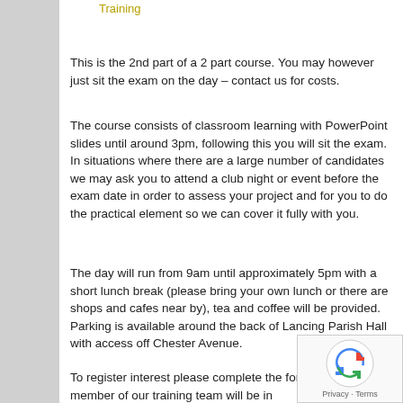Training
This is the 2nd part of a 2 part course. You may however just sit the exam on the day – contact us for costs.
The course consists of classroom learning with PowerPoint slides until around 3pm, following this you will sit the exam. In situations where there are a large number of candidates we may ask you to attend a club night or event before the exam date in order to assess your project and for you to do the practical element so we can cover it fully with you.
The day will run from 9am until approximately 5pm with a short lunch break (please bring your own lunch or there are shops and cafes near by), tea and coffee will be provided. Parking is available around the back of Lancing Parish Hall with access off Chester Avenue.
To register interest please complete the form below and a member of our training team will be in